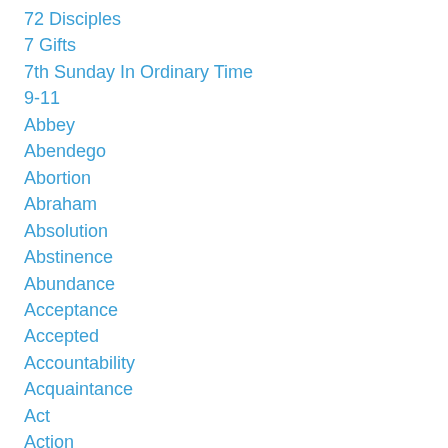72 Disciples
7 Gifts
7th Sunday In Ordinary Time
9-11
Abbey
Abendego
Abortion
Abraham
Absolution
Abstinence
Abundance
Acceptance
Accepted
Accountability
Acquaintance
Act
Action
Actions
Actor
Actress
Ad Caeli Regnum